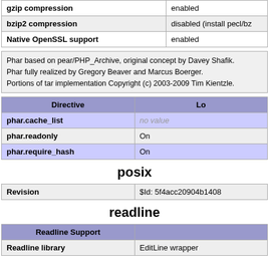|  |  |
| --- | --- |
| gzip compression | enabled |
| bzip2 compression | disabled (install pecl/bz... |
| Native OpenSSL support | enabled |
Phar based on pear/PHP_Archive, original concept by Davey Shafik.
Phar fully realized by Gregory Beaver and Marcus Boerger.
Portions of tar implementation Copyright (c) 2003-2009 Tim Kientzle.
| Directive | Lo... |
| --- | --- |
| phar.cache_list | no value |
| phar.readonly | On |
| phar.require_hash | On |
posix
| Revision | $Id: 5f4acc20904b1408... |
| --- | --- |
readline
| Readline Support |  |
| --- | --- |
| Readline library | EditLine wrapper |